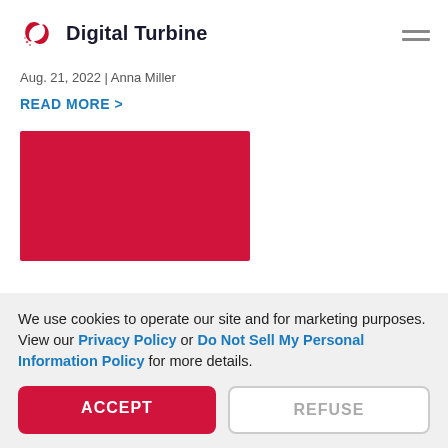Digital Turbine
Aug. 21, 2022 | Anna Miller
READ MORE >
[Figure (illustration): Red/crimson rectangular image block placeholder]
We use cookies to operate our site and for marketing purposes. View our Privacy Policy or Do Not Sell My Personal Information Policy for more details.
ACCEPT  REFUSE